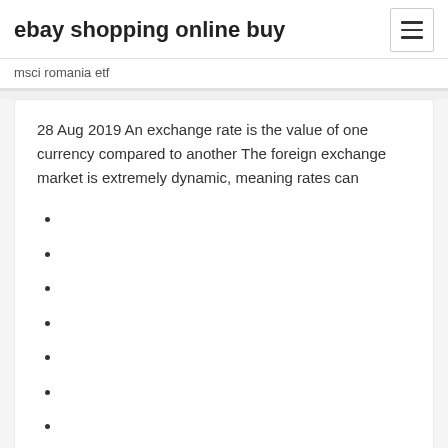ebay shopping online buy
msci romania etf
28 Aug 2019 An exchange rate is the value of one currency compared to another The foreign exchange market is extremely dynamic, meaning rates can